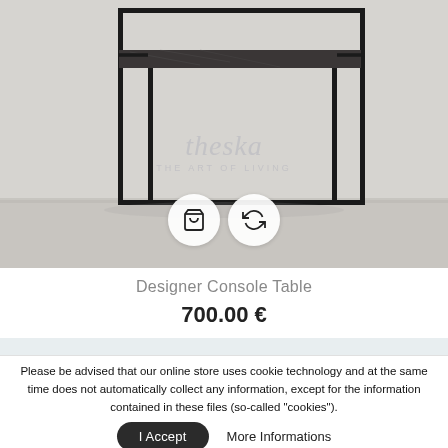[Figure (photo): A minimalist black metal console table with a dark marble shelf, displayed against a light grey/white wall and floor background. Two circular white icon buttons (shopping bag and refresh/compare icons) are overlaid on the lower center of the image.]
Designer Console Table
700.00 €
Please be advised that our online store uses cookie technology and at the same time does not automatically collect any information, except for the information contained in these files (so-called "cookies").
I Accept   More Informations